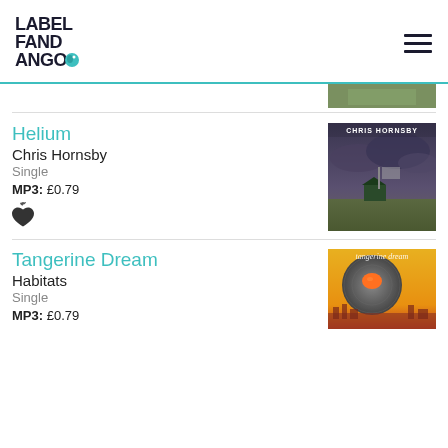[Figure (logo): Label Fandango logo in dark navy bold text with a small teal chameleon icon]
[Figure (illustration): Hamburger menu icon (three horizontal lines) in dark navy]
[Figure (photo): Partial album art image at top right, appears to be green/landscape]
Helium
Chris Hornsby
Single
MP3: £0.79
[Figure (photo): Album cover for Helium by Chris Hornsby showing a dark stormy sky over a flat landscape with a small green building, text CHRIS HORNSBY at top]
Tangerine Dream
Habitats
Single
MP3: £0.79
[Figure (photo): Album cover for Tangerine Dream Habitats showing an orange tangerine on a decorative circular plate on a yellow background with city skyline]